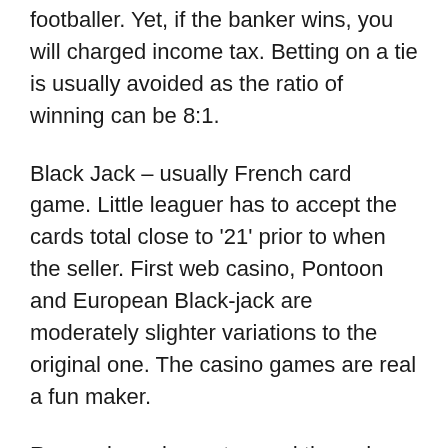footballer. Yet, if the banker wins, you will charged income tax. Betting on a tie is usually avoided as the ratio of winning can be 8:1.
Black Jack – usually French card game. Little leaguer has to accept the cards total close to '21' prior to when the seller. First web casino, Pontoon and European Black-jack are moderately slighter variations to the original one. The casino games are real a fun maker.
Remember, always try read through up the necessary information before you bet, to find out the odds given by various websites for very same game to get the best leverage.
Uncategorized